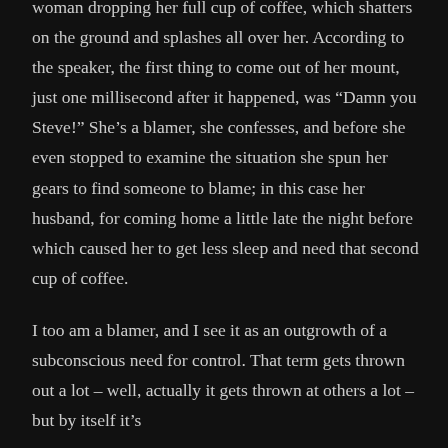woman dropping her full cup of coffee, which shatters on the ground and splashes all over her. According to the speaker, the first thing to come out of her mount, just one millisecond after it happened, was “Damn you Steve!” She’s a blamer, she confesses, and before she even stopped to examine the situation she spun her gears to find someone to blame; in this case her husband, for coming home a little late the night before which caused her to get less sleep and need that second cup of coffee.
I too am a blamer, and I see it as an outgrowth of a subconscious need for control. That term gets thrown out a lot – well, actually it gets thrown at others a lot – but by itself it’s